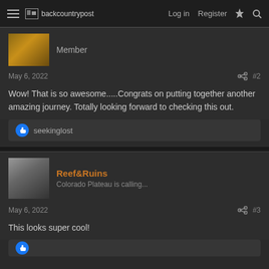backcountrypost — Log in  Register
Member
May 6, 2022  #2
Wow! That is so awesome.....Congrats on putting together another amazing journey. Totally looking forward to checking this out.
seekinglost
Reef&Ruins
Colorado Plateau is calling...
May 6, 2022  #3
This looks super cool!